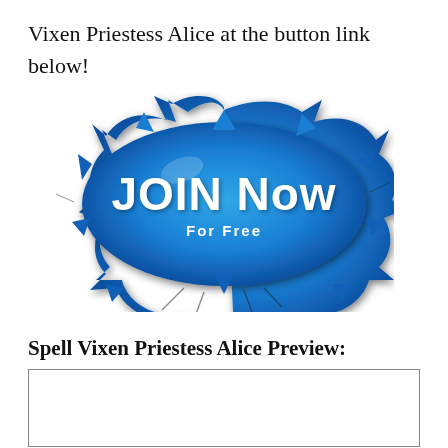Vixen Priestess Alice at the button link below!
[Figure (illustration): A blue splatter/burst graphic button with bold white text 'JOIN NOW' and smaller text 'For Free' beneath it]
Spell Vixen Priestess Alice Preview:
[Figure (other): Empty white preview box with gray border]